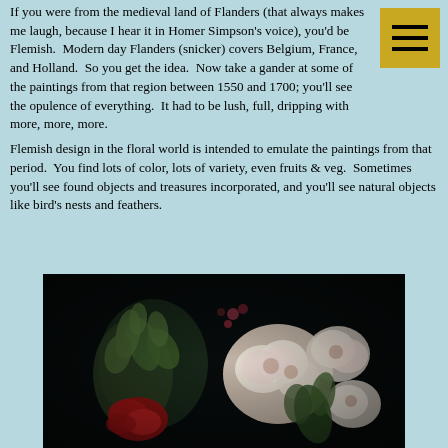What's Flemish design? I'm so glad you asked.
If you were from the medieval land of Flanders (that always makes me laugh, because I hear it in Homer Simpson's voice), you'd be Flemish. Modern day Flanders (snicker) covers Belgium, France, and Holland. So you get the idea. Now take a gander at some of the paintings from that region between 1550 and 1700; you'll see the opulence of everything. It had to be lush, full, dripping with more, more, more.
Flemish design in the floral world is intended to emulate the paintings from that period. You find lots of color, lots of variety, even fruits & veg. Sometimes you'll see found objects and treasures incorporated, and you'll see natural objects like bird's nests and feathers.
[Figure (photo): Photo of floral arrangement on dark background featuring white and pink roses with green foliage and a red element, in Flemish style]